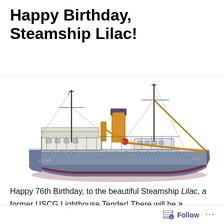Happy Birthday, Steamship Lilac!
[Figure (illustration): Side-profile illustration of the Steamship Lilac, a former USCG Lighthouse Tender. The ship features a blue-gray hull with a dark red lower hull stripe, two tall masts, a large yellow-orange smokestack with a purple/blue top cap, white superstructure and deckhouse, and a yellow boom/crane arm extending toward the stern. The name 'LILAC' is visible on the bow.]
Happy 76th Birthday, to the beautiful Steamship Lilac, a former USCG Lighthouse Tender! There will be a
Follow ...